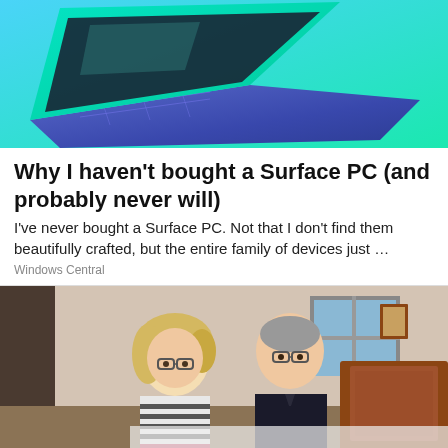[Figure (illustration): A blue and green laptop/Surface PC render on a teal gradient background, showing the device from a side angle.]
Why I haven't bought a Surface PC (and probably never will)
I've never bought a Surface PC. Not that I don't find them beautifully crafted, but the entire family of devices just …
Windows Central
[Figure (photo): Two older adults, a woman with blonde hair and glasses and a man with glasses in a dark polo shirt, sitting/leaning together in a bedroom setting with a wooden headboard visible.]
[Figure (infographic): BitLife advertisement banner with red background showing devil emoji, shrug emoji, and angel emoji on left, and BitLife logo with 'REAL CHOICES' text on black background on right.]